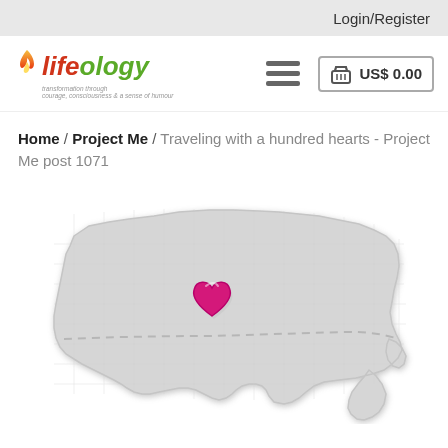Login/Register
[Figure (logo): Lifeology logo with flame icon and tagline: transformation through courage, consciousness & a sense of humour]
Home / Project Me / Traveling with a hundred hearts - Project Me post 1071
[Figure (map): Silhouette map of the United States with a dashed horizontal route line and a pink/magenta heart icon placed in the center (Kansas/Oklahoma area).]